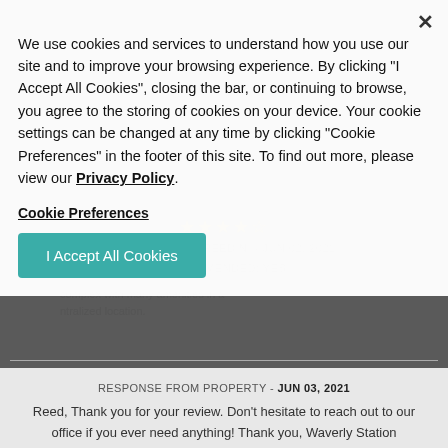We use cookies and services to understand how you use our site and to improve your browsing experience. By clicking "I Accept All Cookies", closing the bar, or continuing to browse, you agree to the storing of cookies on your device. Your cookie settings can be changed at any time by clicking "Cookie Preferences" in the footer of this site. To find out more, please view our Privacy Policy
Cookie Preferences
I Accept All Cookies
SUBMITTED BY REED N. - JUN 02, 2021
RECOMMENDED: YES
complex with many amenities in a ntralized location.
RESPONSE FROM PROPERTY - JUN 03, 2021
Reed, Thank you for your review. Don't hesitate to reach out to our office if you ever need anything! Thank you, Waverly Station Management Team 912-988-1206